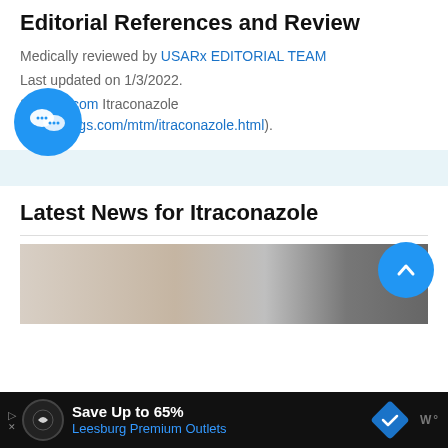Editorial References and Review
Medically reviewed by USARx EDITORIAL TEAM
Last updated on 1/3/2022.
Source: Drugs.com Itraconazole (www.drugs.com/mtm/itraconazole.html).
Latest News for Itraconazole
[Figure (photo): Photo of medical professionals shaking hands or handshake scene]
Save Up to 65% Leesburg Premium Outlets